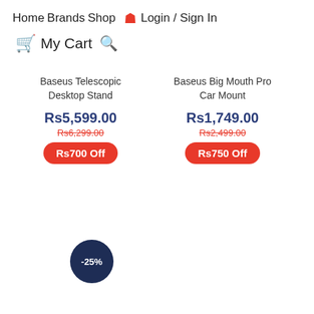Home  Brands  Shop  🧑 Login / Sign In
🛒 My Cart 🔍
Baseus Telescopic Desktop Stand
Rs5,599.00
Rs6,299.00
Rs700 Off
Baseus Big Mouth Pro Car Mount
Rs1,749.00
Rs2,499.00
Rs750 Off
-25%